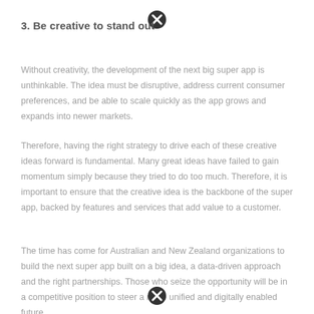3. Be creative to stand out
Without creativity, the development of the next big super app is unthinkable. The idea must be disruptive, address current consumer preferences, and be able to scale quickly as the app grows and expands into newer markets.
Therefore, having the right strategy to drive each of these creative ideas forward is fundamental. Many great ideas have failed to gain momentum simply because they tried to do too much. Therefore, it is important to ensure that the creative idea is the backbone of the super app, backed by features and services that add value to a customer.
The time has come for Australian and New Zealand organizations to build the next super app built on a big idea, a data-driven approach and the right partnerships. Those who seize the opportunity will be in a competitive position to steer a more unified and digitally enabled future.